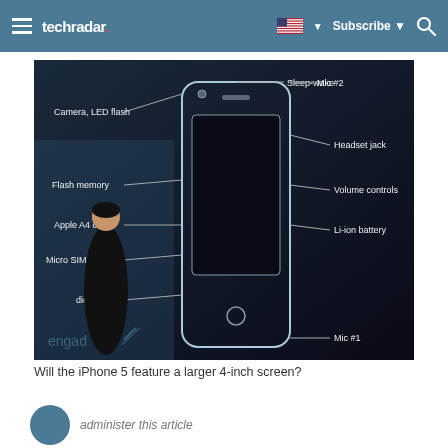techradar | Subscribe | Search
[Figure (screenshot): Screenshot of an iPhone internals diagram presented on a dark stage background, showing labeled components: Sleep-wake, Mic #2, Camera LED flash, Headset jack, Flash memory, Volume controls, Apple A4 chip, Li-ion battery, Micro SIM tray, (Au)dios, Mic #1. A presenter stands in front of the screen. Engadget watermark visible.]
Will the iPhone 5 feature a larger 4-inch screen?